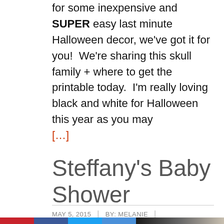for some inexpensive and SUPER easy last minute Halloween decor, we've got it for you!  We're sharing this skull family + where to get the printable today.  I'm really loving black and white for Halloween this year as you may […]
Steffany's Baby Shower
MAY 5, 2015  |  BY: MELANIE  |
[Figure (photo): Social media sharing buttons (Pinterest, Facebook, Twitter, Plus) and a partial photo of a dark interior scene]